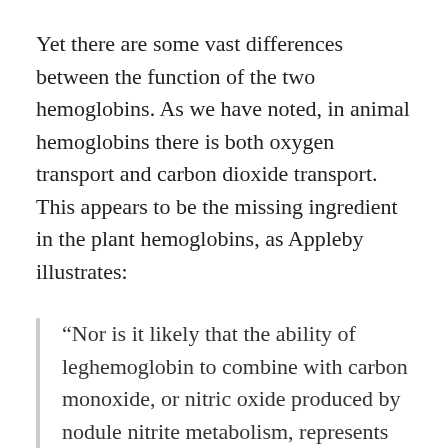Yet there are some vast differences between the function of the two hemoglobins. As we have noted, in animal hemoglobins there is both oxygen transport and carbon dioxide transport. This appears to be the missing ingredient in the plant hemoglobins, as Appleby illustrates:
“Nor is it likely that the ability of leghemoglobin to combine with carbon monoxide, or nitric oxide produced by nodule nitrite metabolism, represents an ‘intended’ function of leghemoglobin, any more than